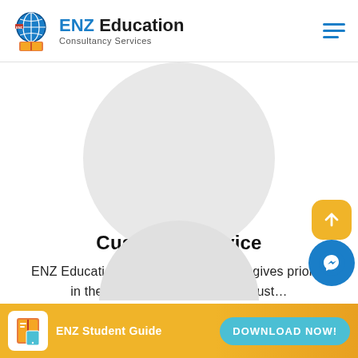ENZ Education Consultancy Services
[Figure (illustration): Circular placeholder image area (light gray circle) for a profile or service icon]
Customer Service
ENZ Education Consultancy Services gives priority in the development of the best cust…
READ MORE
[Figure (illustration): Partial circular placeholder image at bottom of page for next section]
[Figure (other): Yellow rounded scroll-to-top button with upward arrow icon]
[Figure (other): Blue circular Facebook Messenger button]
ENZ Student Guide  DOWNLOAD NOW!